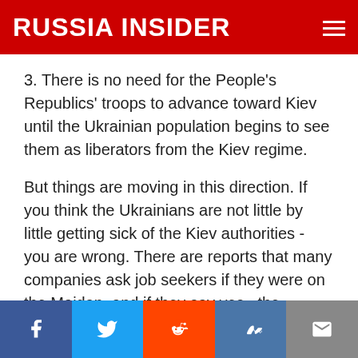RUSSIA INSIDER
3. There is no need for the People's Republics' troops to advance toward Kiev until the Ukrainian population begins to see them as liberators from the Kiev regime.
But things are moving in this direction. If you think the Ukrainians are not little by little getting sick of the Kiev authorities - you are wrong. There are reports that many companies ask job seekers if they were on the Maidan, and if they say yes,  the interviewer writes “moron” on the application and trashes it.
Social sharing bar: Facebook, Twitter, Reddit, VK, Email